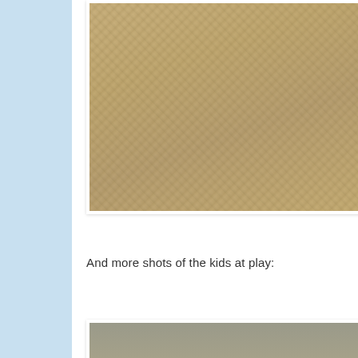[Figure (photo): Close-up photo of sand with tracks and texture, partially visible at top of page]
And more shots of the kids at play:
[Figure (photo): Children playing on a beach; older child in yellow shirt and jeans reaching down to the sand, younger child in background holding a green toy]